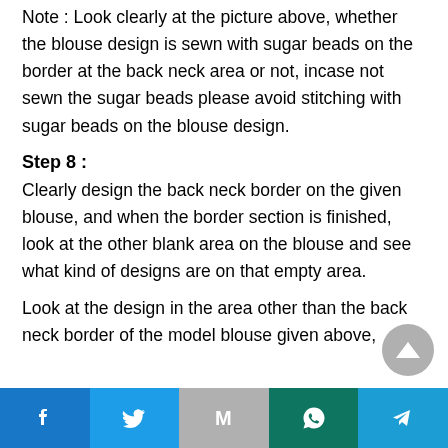Note : Look clearly at the picture above, whether the blouse design is sewn with sugar beads on the border at the back neck area or not, incase not sewn the sugar beads please avoid stitching with sugar beads on the blouse design.
Step 8 :
Clearly design the back neck border on the given blouse, and when the border section is finished, look at the other blank area on the blouse and see what kind of designs are on that empty area.
Look at the design in the area other than the back neck border of the model blouse given above,
Facebook | Twitter | Gmail | WhatsApp | Telegram